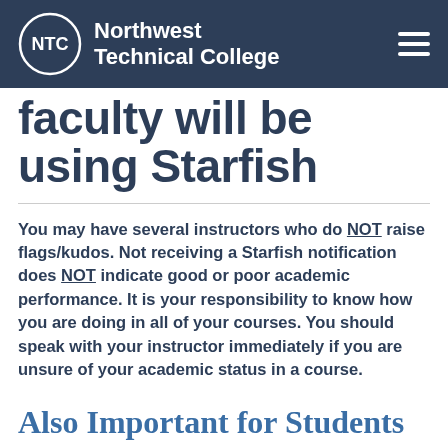NTC Northwest Technical College
faculty will be using Starfish
You may have several instructors who do NOT raise flags/kudos. Not receiving a Starfish notification does NOT indicate good or poor academic performance. It is your responsibility to know how you are doing in all of your courses. You should speak with your instructor immediately if you are unsure of your academic status in a course.
Also Important for Students to Know